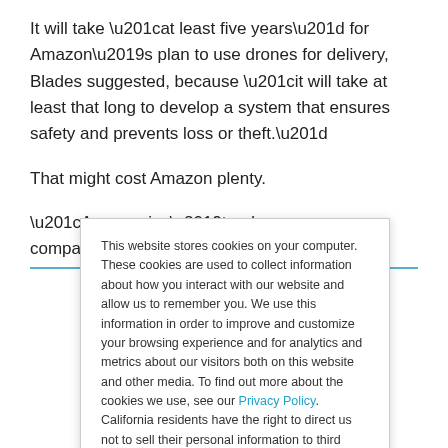It will take “at least five years” for Amazon’s plan to use drones for delivery, Blades suggested, because “it will take at least that long to develop a system that ensures safety and prevents loss or theft.”
That might cost Amazon plenty.
“Amazon isn’t a drone company.” Enderle pointed out.
This website stores cookies on your computer. These cookies are used to collect information about how you interact with our website and allow us to remember you. We use this information in order to improve and customize your browsing experience and for analytics and metrics about our visitors both on this website and other media. To find out more about the cookies we use, see our Privacy Policy. California residents have the right to direct us not to sell their personal information to third parties by filing an Opt-Out Request: Do Not Sell My Personal Info.